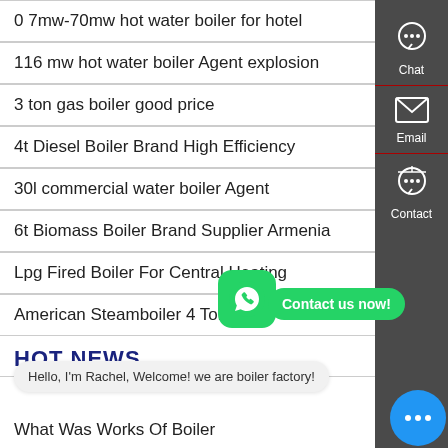0 7mw-70mw hot water boiler for hotel
116 mw hot water boiler Agent explosion
3 ton gas boiler good price
4t Diesel Boiler Brand High Efficiency
30l commercial water boiler Agent
6t Biomass Boiler Brand Supplier Armenia
Lpg Fired Boiler For Central Heating
American Steamboiler 4 Ton
HOT NEWS
Hello, I'm Rachel, Welcome! we are boiler factory!
What Was Works Of Boiler
[Figure (other): Sidebar with Chat, Email, Contact icons on dark background]
[Figure (other): WhatsApp green rounded button icon]
[Figure (other): Contact us now! green bubble button]
[Figure (other): Blue chat bubble button at bottom right]